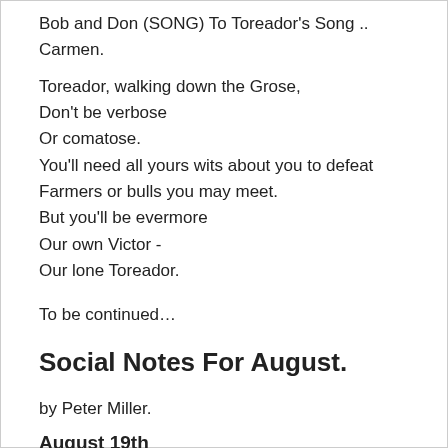Bob and Don (SONG) To Toreador's Song .. Carmen.
Toreador, walking down the Grose,
Don't be verbose
Or comatose.
You'll need all yours wits about you to defeat
Farmers or bulls you may meet.
But you'll be evermore
Our own Victor -
Our lone Toreador.
To be continued…
Social Notes For August.
by Peter Miller.
August 19th
Arctic Doings (Slides and Films).